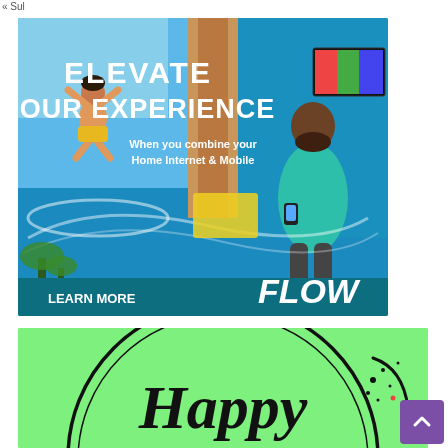« Sul
[Figure (illustration): Flow advertisement with blue/teal background showing a person surfing in the sky on the left and a man in a teal shirt holding a phone on the right in an interior scene. Text reads: ELEVATE YOUR EXPERIENCE, When you combine your Home Internet & Mobile, LEARN MORE, FLOW]
[Figure (illustration): Green background birthday advertisement with black decorative circular border and cursive 'Happy' text in large script lettering with star/sparkle decorations]